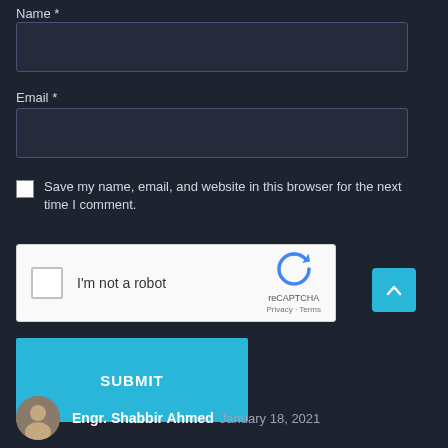Name *
[Figure (other): Name input text field (dark background, rounded border)]
Email *
[Figure (other): Email input text field (dark background, rounded border)]
Save my name, email, and website in this browser for the next time I comment.
[Figure (other): reCAPTCHA widget with checkbox 'I'm not a robot' and reCAPTCHA logo]
[Figure (other): SUBMIT button in cyan/blue color]
[Figure (other): Scroll to top arrow button in teal]
Engr. Shabbir Ahmed  January 18, 2021